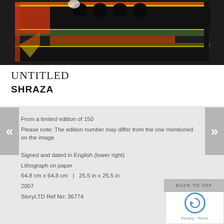[Figure (photo): Partial view of an abstract artwork by Shraza, showing dark background with red, orange, yellow, and green geometric shapes and brushstrokes arranged in horizontal bands with a border.]
UNTITLED
SHRAZA
From a limited edition of 150
Please note: The edition number may differ from the one mentioned on the image
Signed and dated in English (lower right)
Lithograph on paper
64.8 cm x 64.8 cm   |  25.5 in x 25.5 in
2007
StoryLTD Ref No: 36774